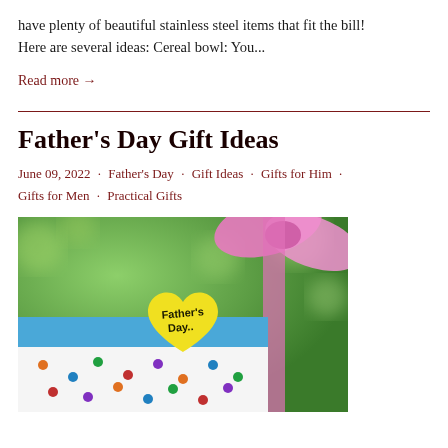have plenty of beautiful stainless steel items that fit the bill! Here are several ideas:  Cereal bowl: You...
Read more →
Father's Day Gift Ideas
June 09, 2022 · Father's Day · Gift Ideas · Gifts for Him · Gifts for Men · Practical Gifts
[Figure (photo): Photo of a blue polka-dotted gift box with a pink bow and a yellow heart-shaped tag that reads Father's Day]